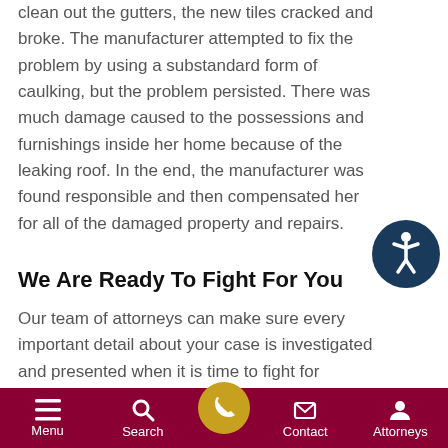clean out the gutters, the new tiles cracked and broke. The manufacturer attempted to fix the problem by using a substandard form of caulking, but the problem persisted. There was much damage caused to the possessions and furnishings inside her home because of the leaking roof. In the end, the manufacturer was found responsible and then compensated her for all of the damaged property and repairs.
[Figure (illustration): Accessibility icon — dark blue circle with a white stick-figure person in a wheelchair pose with arms raised]
We Are Ready To Fight For You
Our team of attorneys can make sure every important detail about your case is investigated and presented when it is time to fight for compensation. We are here to make sure your voice is heard. Contact us at 312-226-4736 or send us an email
Menu | Search | [phone button] | Contact | Attorneys